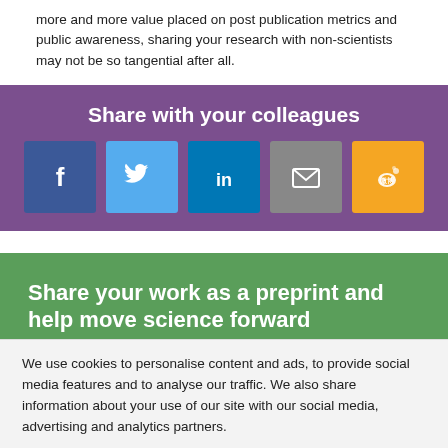more and more value placed on post publication metrics and public awareness, sharing your research with non-scientists may not be so tangential after all.
[Figure (infographic): Purple 'Share with your colleagues' box with five social media icons: Facebook (dark blue), Twitter (light blue), LinkedIn (blue), Email (grey), Weibo (orange)]
Share your work as a preprint and help move science forward
We invite you to share your research with the community by
We use cookies to personalise content and ads, to provide social media features and to analyse our traffic. We also share information about your use of our site with our social media, advertising and analytics partners.